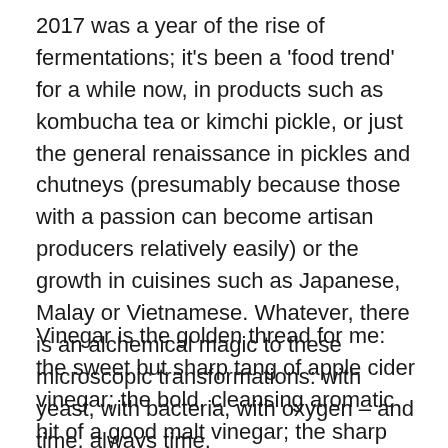2017 was a year of the rise of fermentations; it's been a 'food trend' for a while now, in products such as kombucha tea or kimchi pickle, or just the general renaissance in pickles and chutneys (presumably because those with a passion can become artisan producers relatively easily) or the growth in cuisines such as Japanese, Malay or Vietnamese. Whatever, there is an alchemical magic to these microscopic transformations: with yeast, with bacteria, with oxygen – and time, always time.
Vinegar is the golden thread for me: the sweet but sharp tang of apple cider vinegar; the bold, cleansing aromatic hit of a good malt vinegar; the sharp astringency of distilled vinegar, or the